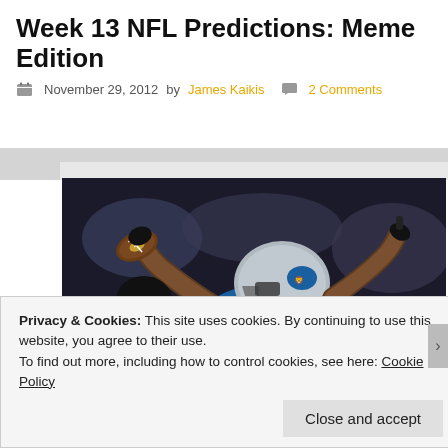Week 13 NFL Predictions: Meme Edition
November 29, 2012 by James Kaikis  2 Comments
[Figure (photo): Detroit Lions player wearing number 81 in blue jersey and silver helmet, celebrating with a football raised in the air]
Privacy & Cookies: This site uses cookies. By continuing to use this website, you agree to their use.
To find out more, including how to control cookies, see here: Cookie Policy
Close and accept